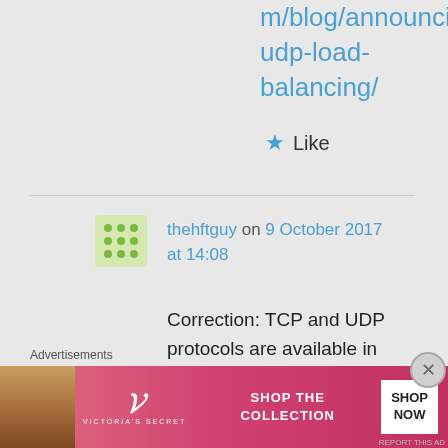m/blog/announcing-udp-load-balancing/
Like
thehftguy on 9 October 2017 at 14:08
Correction: TCP and UDP protocols are available in the open source edition… if nginx is recompiled
Advertisements
[Figure (photo): Victoria's Secret advertisement banner with woman model, VS logo, Shop The Collection text and Shop Now button]